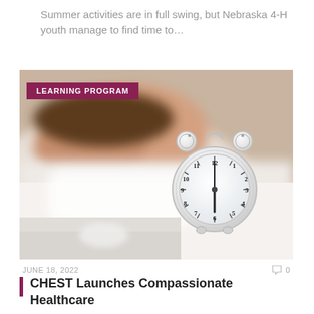Summer activities are in full swing, but Nebraska 4-H youth manage to find time to…
[Figure (photo): A blurry background showing a person sleeping in bed with a white alarm clock in the foreground on a bedside table. The clock shows approximately 12:00. Badge overlay reads 'LEARNING PROGRAM'.]
JUNE 18, 2022   0
CHEST Launches Compassionate Healthcare